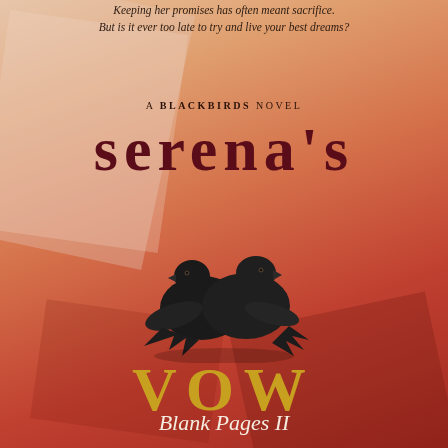Keeping her promises has often meant sacrifice. But is it ever too late to try and live your best dreams?
A BLACKBIRDS NOVEL
serena's
[Figure (illustration): Two black birds (blackbirds/ravens) perched together facing slightly different directions, set against a warm orange-pink background]
VOW
Blank Pages II